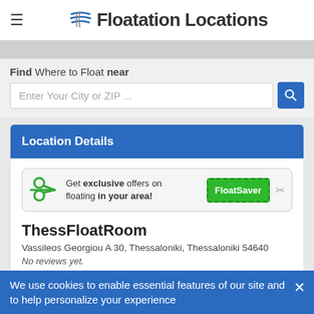Floatation Locations
Find Where to Float near
Enter Your City or ZIP ...
Location Details
[Figure (infographic): FloatSaver banner with scissors icon: Get exclusive offers on floating in your area!]
ThessFloatRoom
Vassileos Georgiou A 30, Thessaloniki, Thessaloniki 54640
No reviews yet.
Write a review
We use cookies to enable essential features of our site and to help personalize your experience